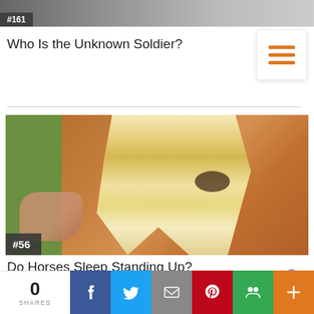[Figure (photo): Partial top image with a dark badge showing #161 or similar number]
Who Is the Unknown Soldier?
[Figure (photo): Close-up photo of a horse's face with blonde/white mane, a child's hand reaching up to pet it. Badge in lower left reads #56.]
Do Horses Sleep Standing Up?
[Figure (screenshot): Bottom share bar with 0 SHARES, Facebook, Twitter, Email, Pinterest, Google+, and Plus buttons. Also a red bar and Microsoft Teams icon visible.]